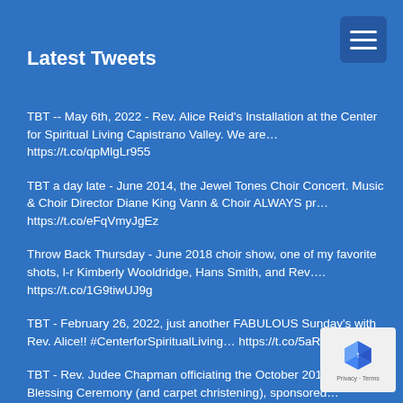Latest Tweets
TBT -- May 6th, 2022 - Rev. Alice Reid's Installation at the Center for Spiritual Living Capistrano Valley. We are… https://t.co/qpMlgLr955
TBT a day late - June 2014, the Jewel Tones Choir Concert. Music & Choir Director Diane King Vann & Choir ALWAYS pr… https://t.co/eFqVmyJgEz
Throw Back Thursday - June 2018 choir show, one of my favorite shots, l-r Kimberly Wooldridge, Hans Smith, and Rev…. https://t.co/1G9tiwUJ9g
TBT - February 26, 2022, just another FABULOUS Sunday's with Rev. Alice!! #CenterforSpiritualLiving… https://t.co/5aRSOGX5M5
TBT - Rev. Judee Chapman officiating the October 2014 Animal Blessing Ceremony (and carpet christening), sponsored… https://t.co/zNbvqoIuSI
BONUS TBT - Rev. Karyn's B-Day, 11/2016. Because…